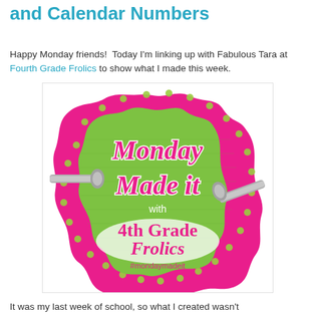and Calendar Numbers
Happy Monday friends!  Today I'm linking up with Fabulous Tara at Fourth Grade Frolics to show what I made this week.
[Figure (illustration): Monday Made It badge/logo with green background, pink polka-dot border, decorative frame shape, nails/screws on sides, text reading 'Monday Made it with 4th Grade Frolics #mondaymadeit']
It was my last week of school, so what I created wasn't